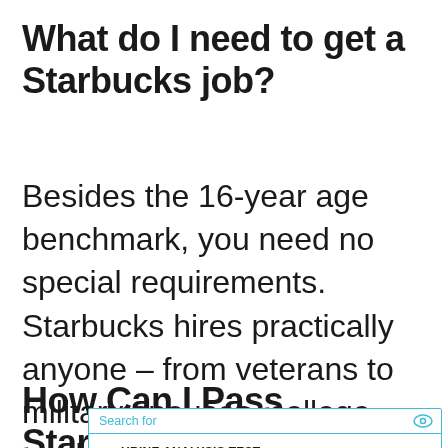What do I need to get a Starbucks job?
Besides the 16-year age benchmark, you need no special requirements. Starbucks hires practically anyone – from veterans to military spouses, college students, and even refugees.
How Can I Pass Starbucks
[Figure (other): Advertisement overlay with search bar showing 'Search for' label with eye icon, followed by two search result rows: 1. URINE ANALYSIS TEST with arrow, 2. EMPLOYMENT SCREENING TESTS with arrow, and a footer with a play icon.]